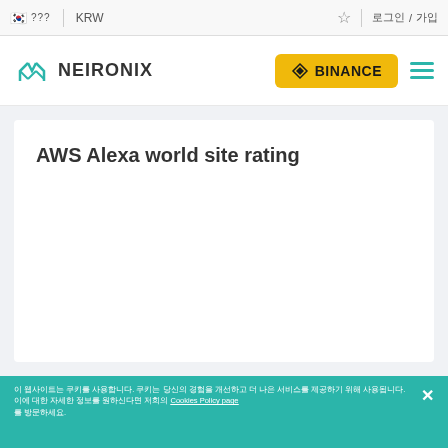🇰🇷 ??? | KRW ☆ 로그인 / 가입
[Figure (logo): NEIRONIX logo with teal geometric N icon and BINANCE yellow button with hamburger menu]
AWS Alexa world site rating
이 웹사이트는 쿠키를 사용합니다. 쿠키는 당신의 경험을 개선하고 더 나은 서비스를 제공하기 위해 사용됩니다. 이에 대한 자세한 정보를 원하신다면 저희의 Cookies Policy page 를 방문하세요. ✕